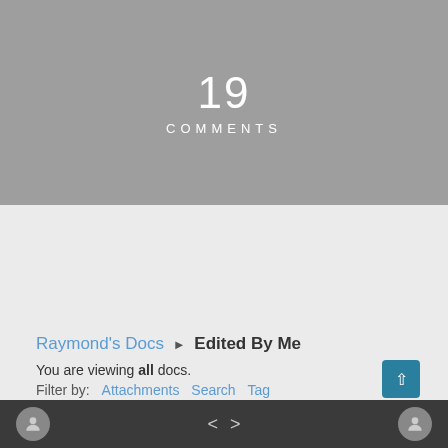[Figure (screenshot): Mobile app screenshot showing top gray banner with '19 COMMENTS']
19
COMMENTS
[Figure (screenshot): Menu button with hamburger icon and 'Menu' label inside a white card]
≡  Menu
Raymond's Docs ▶ Edited By Me
You are viewing all docs.
Filter by:  Attachments  Search  Tag
| Title | Author | Last Edited |
| --- | --- | --- |
< >